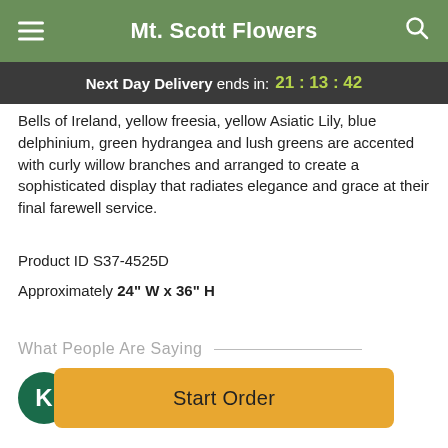Mt. Scott Flowers
Next Day Delivery ends in: 21:13:42
Bells of Ireland, yellow freesia, yellow Asiatic Lily, blue delphinium, green hydrangea and lush greens are accented with curly willow branches and arranged to create a sophisticated display that radiates elegance and grace at their final farewell service.
Product ID S37-4525D
Approximately 24" W x 36" H
What People Are Saying
Kathy Luong
★★★★★ June 23, 2022